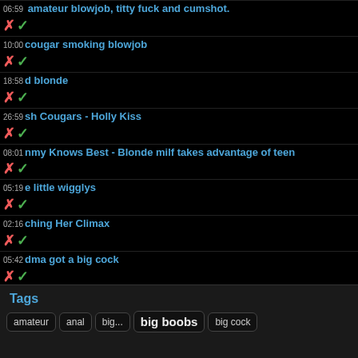06:59 amateur blowjob, titty fuck and cumshot.
10:00 cougar smoking blowjob
18:58 d blonde
26:59 sh Cougars - Holly Kiss
08:01 nmy Knows Best - Blonde milf takes advantage of teen
05:19 e little wigglys
02:16 ching Her Climax
05:42 dma got a big cock
01:29 NG WOMAN FOUR
Tags
amateur | anal | big boobs | big cock